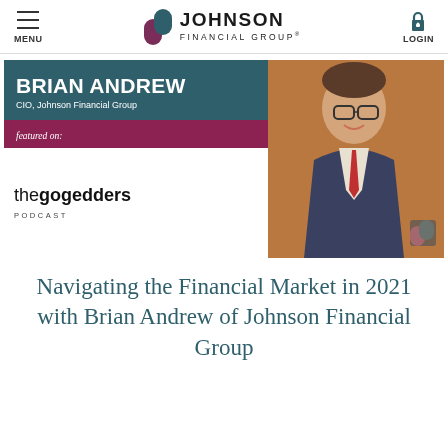MENU | JOHNSON FINANCIAL GROUP® | LOGIN
[Figure (photo): Promotional image for Brian Andrew, CIO of Johnson Financial Group, featured on the gogedders podcast. Left side shows a teal box with 'BRIAN ANDREW / CIO, Johnson Financial Group', a maroon bar with 'featured on:', and white area with 'the gogedders PODCAST' logo. Right side shows a professional photo of Brian Andrew smiling in a suit.]
Navigating the Financial Market in 2021 with Brian Andrew of Johnson Financial Group